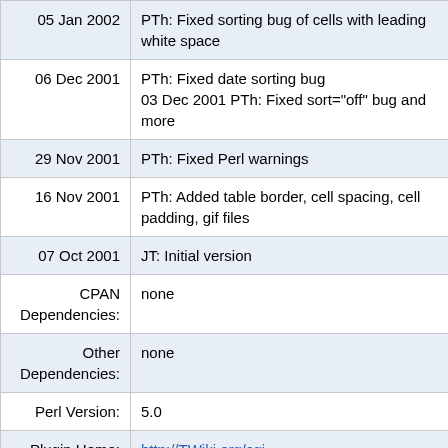| Date/Label | Description |
| --- | --- |
| 05 Jan 2002 | PTh: Fixed sorting bug of cells with leading white space |
| 06 Dec 2001 | PTh: Fixed date sorting bug
03 Dec 2001 PTh: Fixed sort="off" bug and more |
| 29 Nov 2001 | PTh: Fixed Perl warnings |
| 16 Nov 2001 | PTh: Added table border, cell spacing, cell padding, gif files |
| 07 Oct 2001 | JT: Initial version |
| CPAN Dependencies: | none |
| Other Dependencies: | none |
| Perl Version: | 5.0 |
| Plugin Home: | http://TWiki.org/cgi-bin/view/Plugins/TablePlugin |
| Feedback: | http://TWiki.org/cgi-bin/view/Plugins/TablePluginDev |